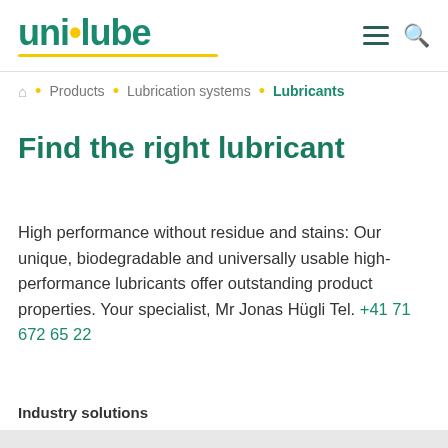unilube
Products • Lubrication systems • Lubricants
Find the right lubricant
High performance without residue and stains: Our unique, biodegradable and universally usable high-performance lubricants offer outstanding product properties. Your specialist, Mr Jonas Hügli Tel. +41 71 672 65 22
Industry solutions